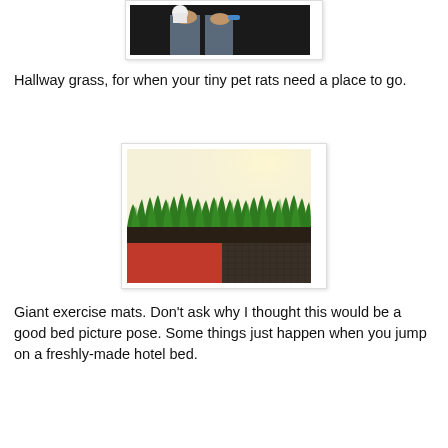[Figure (photo): Bottom portion of a person holding a cup, wearing jeans, against a dark background]
Hallway grass, for when your tiny pet rats need a place to go.
[Figure (photo): A tray of green wheatgrass growing in a dark container, placed on a red and brown textured surface, against a light cream wall]
Giant exercise mats. Don't ask why I thought this would be a good bed picture pose. Some things just happen when you jump on a freshly-made hotel bed.